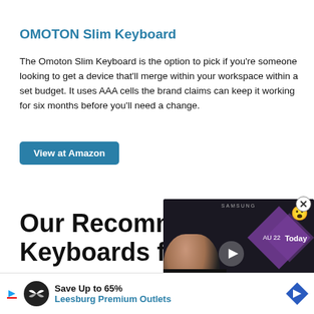OMOTON Slim Keyboard
The Omoton Slim Keyboard is the option to pick if you're someone looking to get a device that'll merge within your workspace within a set budget. It uses AAA cells the brand claims can keep it working for six months before you'll need a change.
View at Amazon
Our Recommender Keyboards for i
[Figure (screenshot): Embedded video player showing a man and Samsung Galaxy Unpacked DAILY event thumbnail with play button, close button in corner]
Choosing a keyboard to use with your iPad is a decision that ca... olet. If you fin... 's
[Figure (infographic): Ad banner: Save Up to 65% Leesburg Premium Outlets with logo icon and navigation arrow]